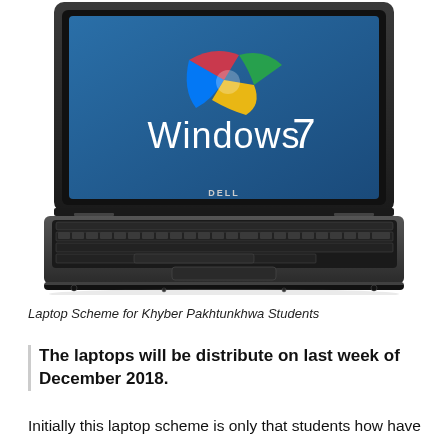[Figure (photo): A Dell laptop with Windows 7 displayed on the screen. The laptop is open showing the Windows 7 logo and branding on a blue background with the colorful Windows orb logo.]
Laptop Scheme for Khyber Pakhtunkhwa Students
The laptops will be distribute on last week of December 2018.
Initially this laptop scheme is only that students how have